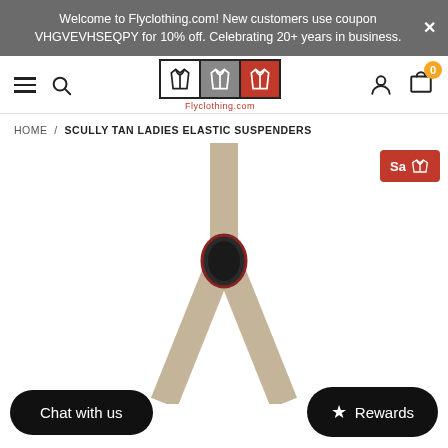Welcome to Flyclothing.com! New customers use coupon VHGVEVHSEQPY for 10% off. Celebrating 20+ years in business.
[Figure (logo): Flyclothing.com logo with three jacket icons in white, gray, and red boxes]
HOME / SCULLY TAN LADIES ELASTIC SUSPENDERS
[Figure (photo): Product image of Scully Tan Ladies Elastic Suspenders — tan elastic straps crossing with dark leather center piece, on white background. Sale badge in top right corner.]